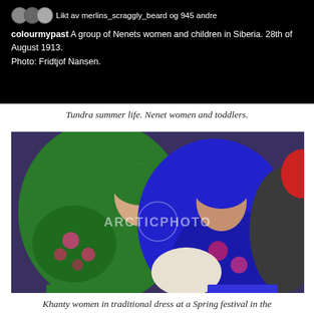[Figure (screenshot): Social media post screenshot on black background. Three avatar icons followed by text: 'Likt av merlins_scraggly_beard og 945 andre'. Below: bold 'colourmypast' followed by 'A group of Nenets women and children in Siberia. 28th of August 1913. Photo: Fridtjof Nansen.']
Tundra summer life. Nenet women and toddlers.
[Figure (photo): Color photograph of Khanty women in traditional colorful headscarves and dress. One younger woman wearing a green floral shawl on the left, an older woman in a blue shawl in the center-right. Arctic Photo watermark visible.]
Khanty women in traditional dress at a Spring festival in the